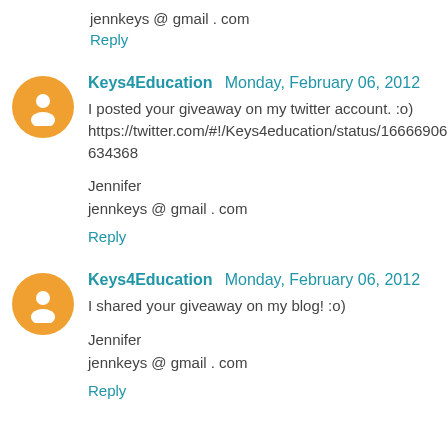jennkeys @ gmail . com
Reply
Keys4Education  Monday, February 06, 2012
I posted your giveaway on my twitter account. :o) https://twitter.com/#!/Keys4education/status/166669061512634368
Jennifer
jennkeys @ gmail . com
Reply
Keys4Education  Monday, February 06, 2012
I shared your giveaway on my blog! :o)
Jennifer
jennkeys @ gmail . com
Reply